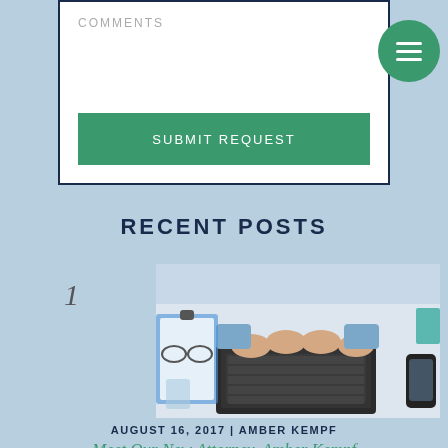COMMENTS
SUBMIT REQUEST
RECENT POSTS
1
[Figure (photo): Top-down view of a person typing on a laptop keyboard on a desk, with glasses, a clipboard, a glass of water, and a smartphone nearby.]
AUGUST 16, 2017 | AMBER KEMPF
Meet Our New Attorney, Amber Kempf